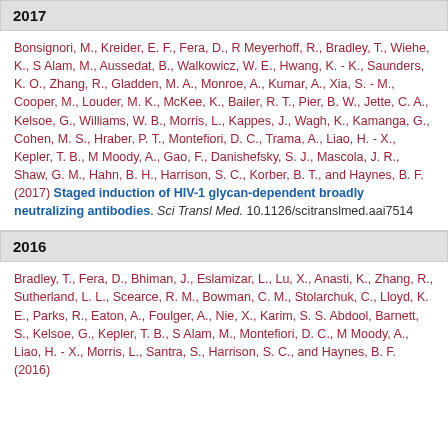2017
Bonsignori, M., Kreider, E. F., Fera, D., R Meyerhoff, R., Bradley, T., Wiehe, K., S Alam, M., Aussedat, B., Walkowicz, W. E., Hwang, K. - K., Saunders, K. O., Zhang, R., Gladden, M. A., Monroe, A., Kumar, A., Xia, S. - M., Cooper, M., Louder, M. K., McKee, K., Bailer, R. T., Pier, B. W., Jette, C. A., Kelsoe, G., Williams, W. B., Morris, L., Kappes, J., Wagh, K., Kamanga, G., Cohen, M. S., Hraber, P. T., Montefiori, D. C., Trama, A., Liao, H. - X., Kepler, T. B., M Moody, A., Gao, F., Danishefsky, S. J., Mascola, J. R., Shaw, G. M., Hahn, B. H., Harrison, S. C., Korber, B. T., and Haynes, B. F. (2017) Staged induction of HIV-1 glycan-dependent broadly neutralizing antibodies. Sci Transl Med. 10.1126/scitranslmed.aai7514
2016
Bradley, T., Fera, D., Bhiman, J., Eslamizar, L., Lu, X., Anasti, K., Zhang, R., Sutherland, L. L., Scearce, R. M., Bowman, C. M., Stolarchuk, C., Lloyd, K. E., Parks, R., Eaton, A., Foulger, A., Nie, X., Karim, S. S. Abdool, Barnett, S., Kelsoe, G., Kepler, T. B., S Alam, M., Montefiori, D. C., M Moody, A., Liao, H. - X., Morris, L., Santra, S., Harrison, S. C., and Haynes, B. F. (2016)